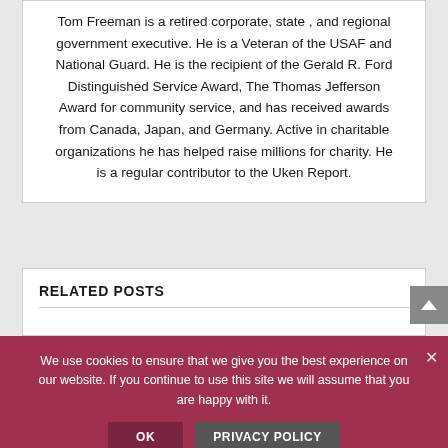Tom Freeman is a retired corporate, state , and regional government executive. He is a Veteran of the USAF and National Guard. He is the recipient of the Gerald R. Ford Distinguished Service Award, The Thomas Jefferson Award for community service, and has received awards from Canada, Japan, and Germany. Active in charitable organizations he has helped raise millions for charity. He is a regular contributor to the Uken Report.
RELATED POSTS
We use cookies to ensure that we give you the best experience on our website. If you continue to use this site we will assume that you are happy with it.